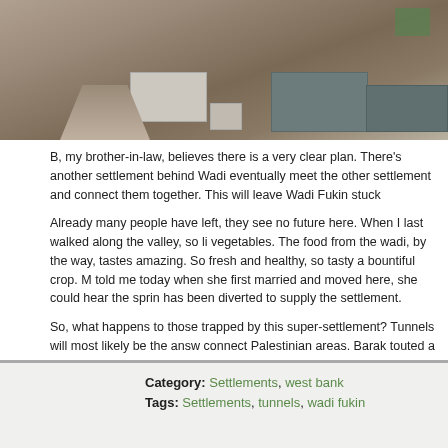[Figure (photo): Aerial or hillside view of a settlement with buildings and a winding road through arid landscape.]
B, my brother-in-law, believes there is a very clear plan. There's another settlement behind Wadi eventually meet the other settlement and connect them together. This will leave Wadi Fukin stuck
Already many people have left, they see no future here. When I last walked along the valley, so li vegetables. The food from the wadi, by the way, tastes amazing. So fresh and healthy, so tasty a bountiful crop. M told me today when she first married and moved here, she could hear the sprin has been diverted to supply the settlement.
So, what happens to those trapped by this super-settlement? Tunnels will most likely be the answ connect Palestinian areas. Barak touted a tunnel to link Gaza to the West Bank, but that won't ha underpasses to connect Palestinians to Palestinians. It is also the perfect solution to connect Gu the settlers do not have to set eyes on an Arab and be reminded of whose land they are really liv
The drive out of the valley takes us by the entrance to Beitar Illit. Just opposite is a lone Palestini garage from there. As we passed, a long line of settlers were waiting their turn for his services. It'
Category: Settlements, west bank
Tags: Settlements, tunnels, wadi fukin